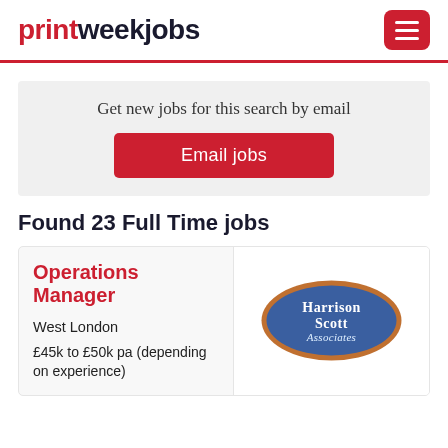printweekjobs
Get new jobs for this search by email
Email jobs
Found 23 Full Time jobs
Operations Manager
West London
£45k to £50k pa (depending on experience)
[Figure (logo): Harrison Scott Associates oval logo with blue background and gold border]